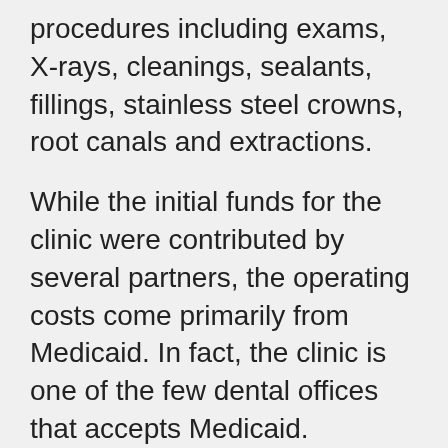procedures including exams, X-rays, cleanings, sealants, fillings, stainless steel crowns, root canals and extractions.
While the initial funds for the clinic were contributed by several partners, the operating costs come primarily from Medicaid. In fact, the clinic is one of the few dental offices that accepts Medicaid.
Providing students with access to school health services, including dental health services, is a key component of a healthy school environment and a proven strategy for ensuring students are healthy and ready to learn.